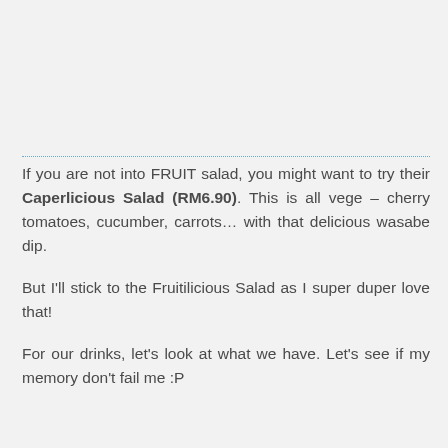If you are not into FRUIT salad, you might want to try their Caperlicious Salad (RM6.90). This is all vege – cherry tomatoes, cucumber, carrots… with that delicious wasabe dip.
But I'll stick to the Fruitilicious Salad as I super duper love that!
For our drinks, let's look at what we have. Let's see if my memory don't fail me :P